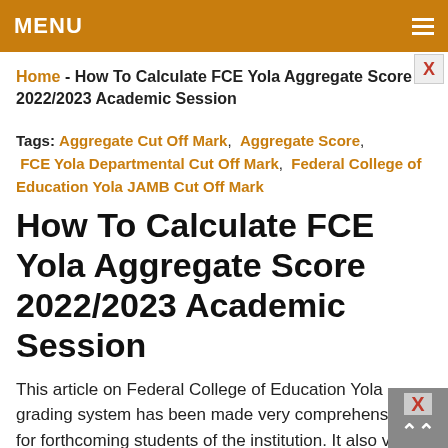MENU
Home - How To Calculate FCE Yola Aggregate Score 2022/2023 Academic Session
Tags: Aggregate Cut Off Mark, Aggregate Score, FCE Yola Departmental Cut Off Mark, Federal College of Education Yola JAMB Cut Off Mark
How To Calculate FCE Yola Aggregate Score 2022/2023 Academic Session
This article on Federal College of Education Yola grading system has been made very comprehensive for forthcoming students of the institution. It also very important that students